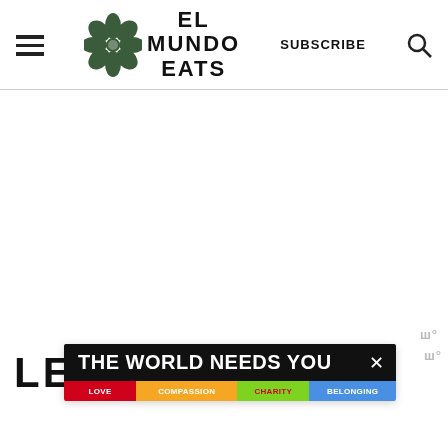EL MUNDO EATS — SUBSCRIBE
[Figure (logo): El Mundo Eats logo with hibiscus flower and text EL MUNDO EATS]
LETS TALK
[Figure (infographic): Ad banner: THE WORLD NEEDS YOU with rainbow color bar reading LOVE COMPASSION CHARITY BELONGING]